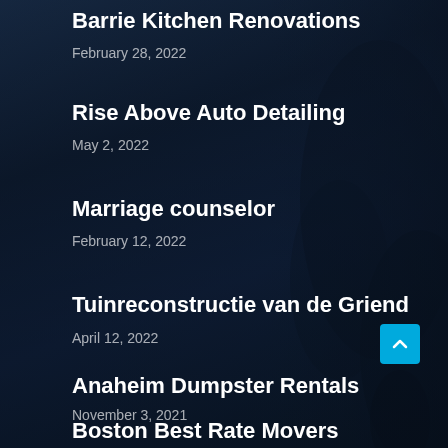Barrie Kitchen Renovations
February 28, 2022
Rise Above Auto Detailing
May 2, 2022
Marriage counselor
February 12, 2022
Tuinreconstructie van de Griend
April 12, 2022
Anaheim Dumpster Rentals
November 3, 2021
Boston Best Rate Movers